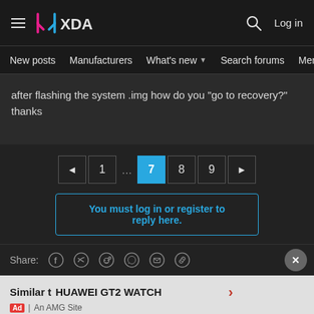XDA — Log in
New posts  Manufacturers  What's new  Search forums  Members  >
after flashing the system .img how do you "go to recovery?"
thanks
◄  1  ...  7  8  9  ►
You must log in or register to reply here.
Share:
Similar t  HUAWEI GT2 WATCH  Ad | An AMG Site  Watchfaces - Huawei Watch GT/GT2 collectio...